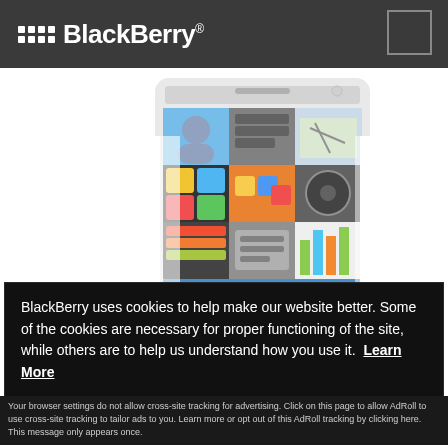[Figure (logo): BlackBerry logo with dot-grid icon and wordmark on dark header bar]
[Figure (photo): BlackBerry Passport smartphone (white) showing app grid on screen, partially blurred promotional photo]
BlackBerry uses cookies to help make our website better. Some of the cookies are necessary for proper functioning of the site, while others are to help us understand how you use it. Learn More
Accept and Close ×
Your browser settings do not allow cross-site tracking for advertising. Click on this page to allow AdRoll to use cross-site tracking to tailor ads to you. Learn more or opt out of this AdRoll tracking by clicking here. This message only appears once.